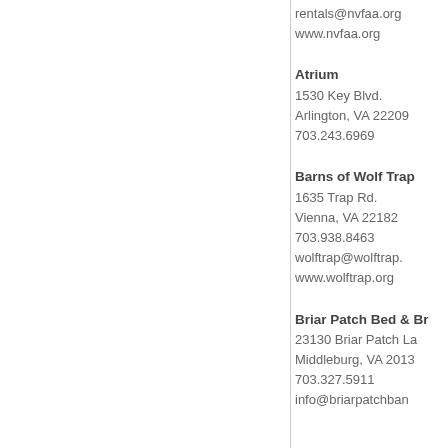rentals@nvfaa.org
www.nvfaa.org
Atrium
1530 Key Blvd.
Arlington, VA 22209
703.243.6969
Barns of Wolf Trap
1635 Trap Rd.
Vienna, VA 22182
703.938.8463
wolftrap@wolftrap.
www.wolftrap.org
Briar Patch Bed & Br
23130 Briar Patch La
Middleburg, VA 2013
703.327.5911
info@briarpatchban